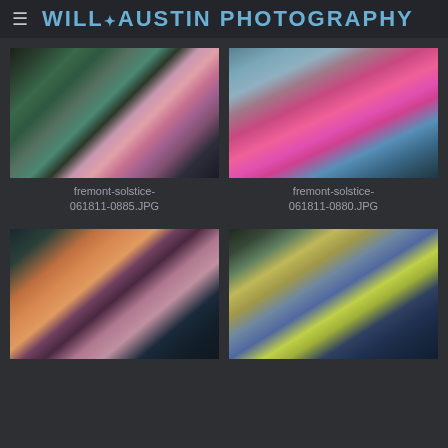WILL✦AUSTIN PHOTOGRAPHY
[Figure (photo): People at Fremont Solstice parade, woman in teal dress with pink underwear showing]
fremont-solstice-061811-0885.JPG
[Figure (photo): Young woman with face paint in pink polka dot top at Fremont Solstice parade]
fremont-solstice-061811-0880.JPG
[Figure (photo): Smiling woman with colorful hair accessories at Fremont Solstice parade]
[Figure (photo): Group of women with colorful hair accessories celebrating at Fremont Solstice parade]